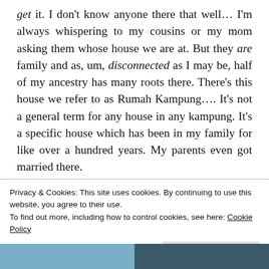get it. I don't know anyone there that well… I'm always whispering to my cousins or my mom asking them whose house we are at. But they are family and as, um, disconnected as I may be, half of my ancestry has many roots there. There's this house we refer to as Rumah Kampung…. It's not a general term for any house in any kampung. It's a specific house which has been in my family for like over a hundred years. My parents even got married there.
Privacy & Cookies: This site uses cookies. By continuing to use this website, you agree to their use.
To find out more, including how to control cookies, see here: Cookie Policy
[Figure (photo): Bottom strip showing a partial photo of a building exterior]